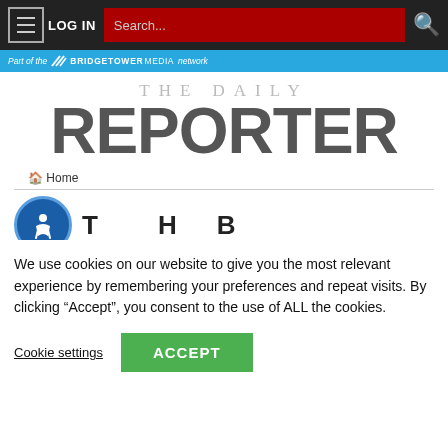LOG IN | Search... | [search icon]
Part of the BRIDGETOWER MEDIA network
THE DAILY REPORTER
Home
[Figure (screenshot): Accessibility icon circle with person figure in blue circle]
Groupon Official Site | Online Shopping Deals
Discover & Save with Over 300k of the Best Deals
www.groupon.com
We use cookies on our website to give you the most relevant experience by remembering your preferences and repeat visits. By clicking “Accept”, you consent to the use of ALL the cookies.
Cookie settings   ACCEPT